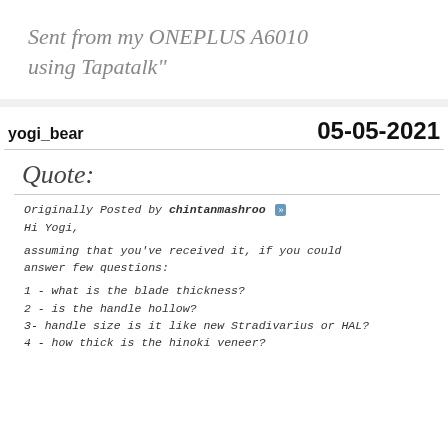Sent from my ONEPLUS A6010 using Tapatalk"
yogi_bear
05-05-2021
Quote:
Originally Posted by chintanmashroo
Hi Yogi,
assuming that you've received it, if you could answer few questions:
1 - what is the blade thickness?
2 - is the handle hollow?
3- handle size is it like new Stradivarius or HAL?
4 - how thick is the hinoki veneer?